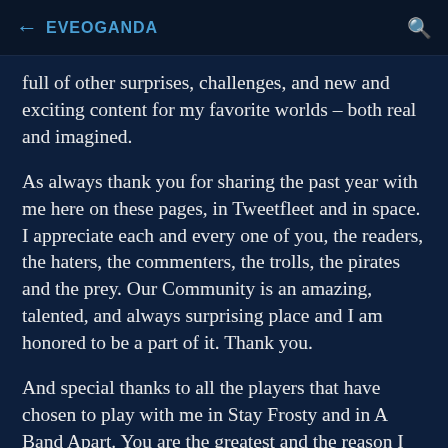← EVEOGANDA 🔍
full of other surprises, challenges, and new and exciting content for my favorite worlds – both real and imagined.
As always thank you for sharing the past year with me here on these pages, in Tweetfleet and in space. I appreciate each and every one of you, the readers, the haters, the commenters, the trolls, the pirates and the prey. Our Community is an amazing, talented, and always surprising place and I am honored to be a part of it. Thank you.
And special thanks to all the players that have chosen to play with me in Stay Frosty and in A Band Apart. You are the greatest and the reason I continue to log on every day and look forward to